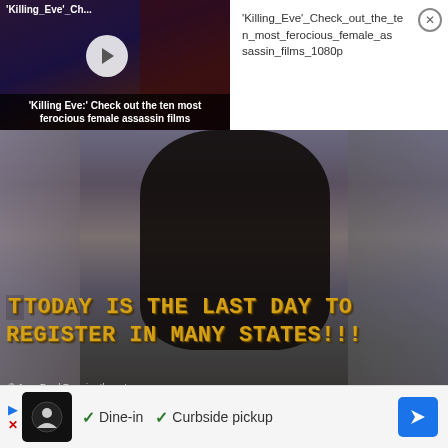[Figure (screenshot): Video thumbnail for 'Killing Eve:' Check out the ten most ferocious female assassin films with play button overlay]
'Killing_Eve'_Check_out_the_ten_most_ferocious_female_assassin_films_1080p
[Figure (screenshot): Video still showing a man in a kitchen with text overlay reading 'TODAY IS THE LAST DAY TO REGISTER IN MANY STATES!!!' with watermark '© Jane Fond Exercise the vote']
7 foot tall f... a... tion.... l b...sk...tb...ll pl...y...
[Figure (screenshot): Advertisement banner with play/close buttons, restaurant logo, checkmarks for 'Dine-in' and 'Curbside pickup', and navigation arrow button]